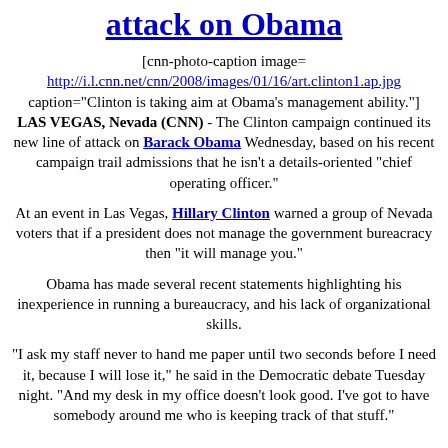attack on Obama
[cnn-photo-caption image= http://i.l.cnn.net/cnn/2008/images/01/16/art.clinton1.ap.jpg caption="Clinton is taking aim at Obama's management ability."] LAS VEGAS, Nevada (CNN) - The Clinton campaign continued its new line of attack on Barack Obama Wednesday, based on his recent campaign trail admissions that he isn't a details-oriented "chief operating officer."
At an event in Las Vegas, Hillary Clinton warned a group of Nevada voters that if a president does not manage the government bureacracy then "it will manage you."
Obama has made several recent statements highlighting his inexperience in running a bureaucracy, and his lack of organizational skills.
"I ask my staff never to hand me paper until two seconds before I need it, because I will lose it," he said in the Democratic debate Tuesday night. "And my desk in my office doesn't look good. I've got to have somebody around me who is keeping track of that stuff."